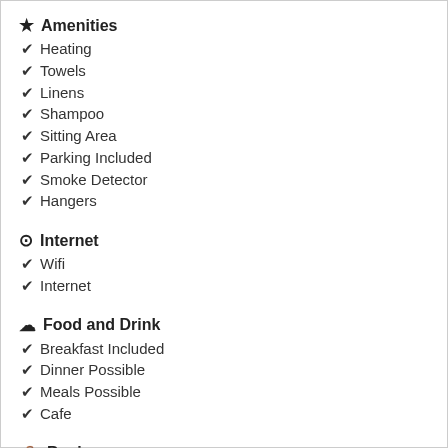Amenities
Heating
Towels
Linens
Shampoo
Sitting Area
Parking Included
Smoke Detector
Hangers
Internet
Wifi
Internet
Food and Drink
Breakfast Included
Dinner Possible
Meals Possible
Cafe
Business
Desk
Laptop Friendly
Pets
Pets Not Allowed